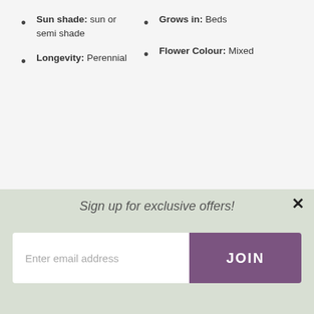Sun shade: sun or semi shade
Grows in: Beds
Flower Colour: Mixed
Longevity: Perennial
[Figure (photo): A colourful arrangement of pansies in yellow, purple, and white, displayed in a basket or pot against a wooden fence background.]
Sign up for exclusive offers!
Enter email address
JOIN